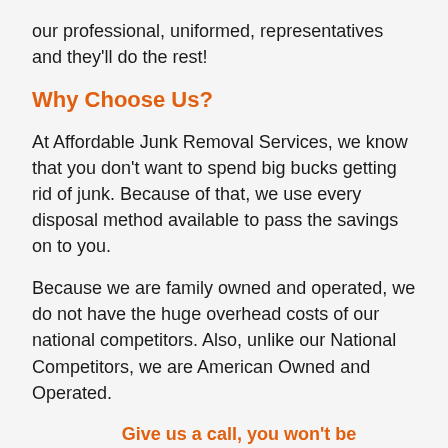our professional, uniformed, representatives and they'll do the rest!
Why Choose Us?
At Affordable Junk Removal Services, we know that you don't want to spend big bucks getting rid of junk. Because of that, we use every disposal method available to pass the savings on to you.
Because we are family owned and operated, we do not have the huge overhead costs of our national competitors. Also, unlike our National Competitors, we are American Owned and Operated.
Give us a call, you won't be disappointed!
Best of all… you don't lift a finger – we do all the